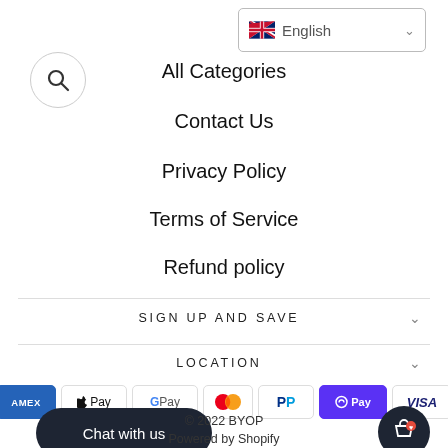[Figure (other): Search icon inside a circle]
[Figure (screenshot): English language selector dropdown with UK flag]
All Categories
Contact Us
Privacy Policy
Terms of Service
Refund policy
SIGN UP AND SAVE
LOCATION
[Figure (other): Payment method icons: American Express, Apple Pay, Google Pay, Mastercard, PayPal, Shop Pay, Visa]
Chat with us
© 2022 BYOP
Powered by Shopify
[Figure (other): Cart/shopping bag icon button]